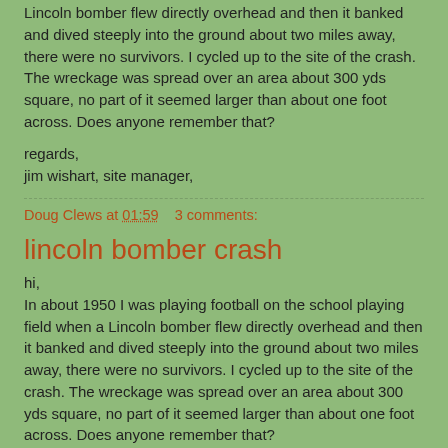Lincoln bomber flew directly overhead and then it banked and dived steeply into the ground about two miles away, there were no survivors. I cycled up to the site of the crash. The wreckage was spread over an area about 300 yds square, no part of it seemed larger than about one foot across. Does anyone remember that?
regards,
jim wishart, site manager,
Doug Clews at 01:59    3 comments:
lincoln bomber crash
hi,
In about 1950 I was playing football on the school playing field when a Lincoln bomber flew directly overhead and then it banked and dived steeply into the ground about two miles away, there were no survivors. I cycled up to the site of the crash. The wreckage was spread over an area about 300 yds square, no part of it seemed larger than about one foot across. Does anyone remember that?
regards,
jim wishart, site manager,